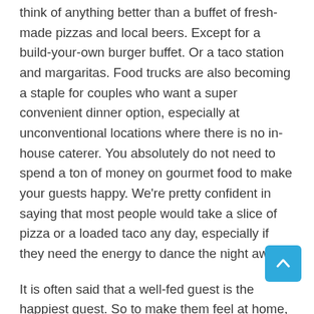think of anything better than a buffet of fresh-made pizzas and local beers. Except for a build-your-own burger buffet. Or a taco station and margaritas. Food trucks are also becoming a staple for couples who want a super convenient dinner option, especially at unconventional locations where there is no in-house caterer. You absolutely do not need to spend a ton of money on gourmet food to make your guests happy. We're pretty confident in saying that most people would take a slice of pizza or a loaded taco any day, especially if they need the energy to dance the night away!
It is often said that a well-fed guest is the happiest guest. So to make them feel at home, you need to roll out a menu that they have been craving for. From presentation to the taste as well as smell, you need to make a lasting impression on them. You can start by delighting your guests with some surprising